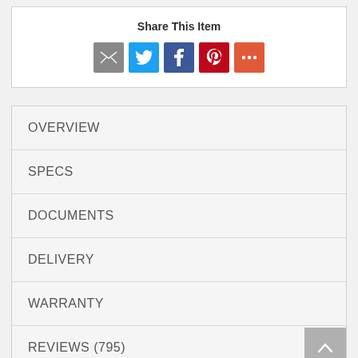Share This Item
[Figure (infographic): Social share icons: email (grey), Twitter (blue), Facebook (dark blue), Pinterest (red), More (orange-red)]
OVERVIEW
SPECS
DOCUMENTS
DELIVERY
WARRANTY
REVIEWS (795)